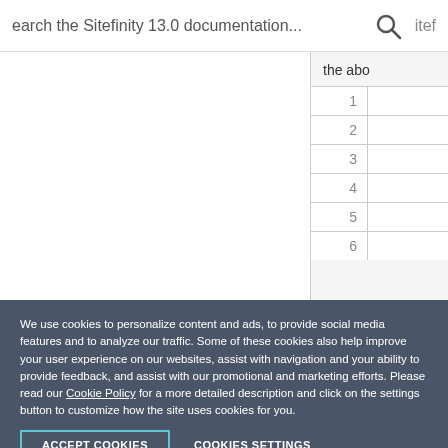earch the Sitefinity 13.0 documentation...
the abo
| 1 |  |
| 2 |  |
| 3 |  |
| 4 |  |
| 5 |  |
| 6 |  |
We use cookies to personalize content and ads, to provide social media features and to analyze our traffic. Some of these cookies also help improve your user experience on our websites, assist with navigation and your ability to provide feedback, and assist with our promotional and marketing efforts. Please read our Cookie Policy for a more detailed description and click on the settings button to customize how the site uses cookies for you.
ACCEPT COOKIES
COOKIES SETTINGS